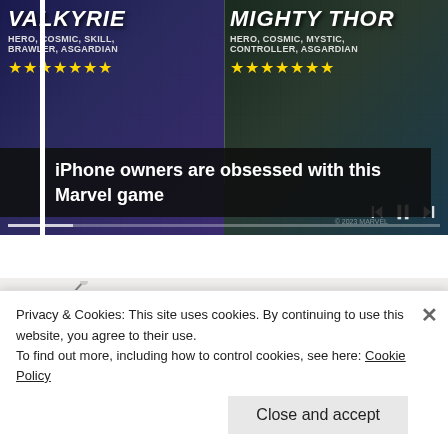[Figure (screenshot): Marvel game advertisement showing two characters: VALKYRIE (HERO, COSMIC, SKILL, BRAWLER, ASGARDIAN) and MIGHTY THOR (HERO, COSMIC, MYSTIC, CONTROLLER, ASGARDIAN) with star ratings on a dark background. Media playback controls visible. Overlay text reads: iPhone owners are obsessed with this Marvel game]
[Figure (photo): Product photo of a luxury multi-functional sofa/bed with speakers, storage and smart features, shown in a light beige/cream color with brown cushions]
Privacy & Cookies: This site uses cookies. By continuing to use this website, you agree to their use.
To find out more, including how to control cookies, see here: Cookie Policy
Close and accept